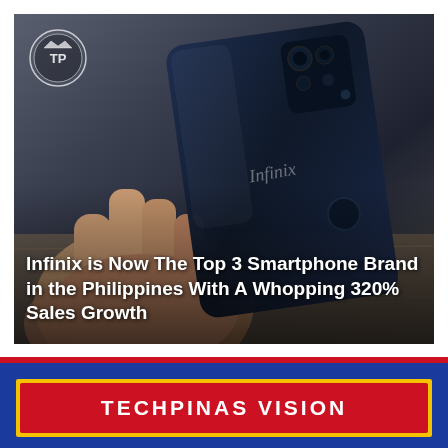[Figure (photo): Person holding an Infinix smartphone (back view showing camera module and fingerprint sensor), dark blue color. The image has a TP (TechPinas) watermark logo in the top-left corner. Overlaid text reads: 'Infinix is Now The Top 3 Smartphone Brand in the Philippines With A Whopping 320% Sales Growth']
Infinix is Now The Top 3 Smartphone Brand in the Philippines With A Whopping 320% Sales Growth
TECHPINAS VISION